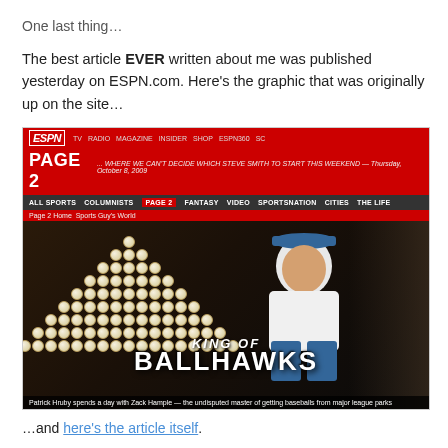One last thing…
The best article EVER written about me was published yesterday on ESPN.com. Here's the graphic that was originally up on the site…
[Figure (screenshot): ESPN Page 2 website screenshot featuring a header with navigation links (TV, RADIO, MAGAZINE, INSIDER, SHOP, ESPN360, SC), a large red Page 2 banner with headline '...WHERE WE CAN'T DECIDE WHICH STEVE SMITH TO START THIS WEEKEND — Thursday, October 8, 2009', navigation bar with ALL SPORTS, COLUMNISTS, PAGE 2, FANTASY, VIDEO, SPORTSNATION, CITIES, THE LIFE, breadcrumb showing 'Page 2 Home > Sports Guy's World', and a hero image of a man posing next to a pyramid of baseballs with text 'KING OF BALLHAWKS' and caption 'Patrick Hruby spends a day with Zack Hample — the undisputed master of getting baseballs from major league parks']
…and here's the article itself.